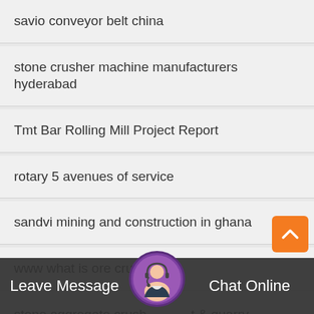savio conveyor belt china
stone crusher machine manufacturers hyderabad
Tmt Bar Rolling Mill Project Report
rotary 5 avenues of service
sandvi mining and construction in ghana
www what is ore crushed
stone aggregate crusher plant & quarry
usa gold mining equipment
Leave Message
Chat Online